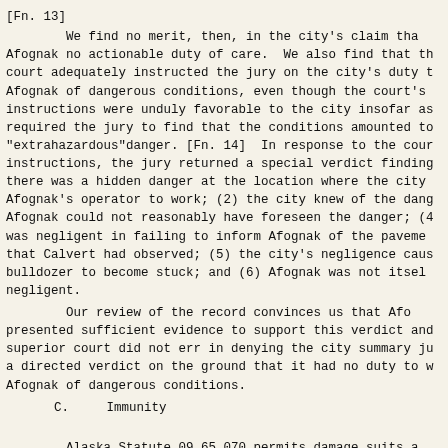[Fn. 13]
We find no merit, then, in the city's claim that Afognak no actionable duty of care. We also find that the court adequately instructed the jury on the city's duty to Afognak of dangerous conditions, even though the court's instructions were unduly favorable to the city insofar as required the jury to find that the conditions amounted to "extrahazardous"danger. [Fn. 14] In response to the court's instructions, the jury returned a special verdict finding there was a hidden danger at the location where the city Afognak's operator to work; (2) the city knew of the danger Afognak could not reasonably have foreseen the danger; (4) was negligent in failing to inform Afognak of the pavement that Calvert had observed; (5) the city's negligence caused bulldozer to become stuck; and (6) Afognak was not itself negligent.
Our review of the record convinces us that Afognak presented sufficient evidence to support this verdict and superior court did not err in denying the city summary ju a directed verdict on the ground that it had no duty to warn Afognak of dangerous conditions.
C.    Immunity
Alaska Statute 09.65.070 permits damage suits against municipalities but creates limited immunity under certain circumstances. The city claims immunity under two of these provisions.
First, the city contends that it was immune under AS 09.65.070(d)(5)'s emergency provision:
(d) An action for damages may not be